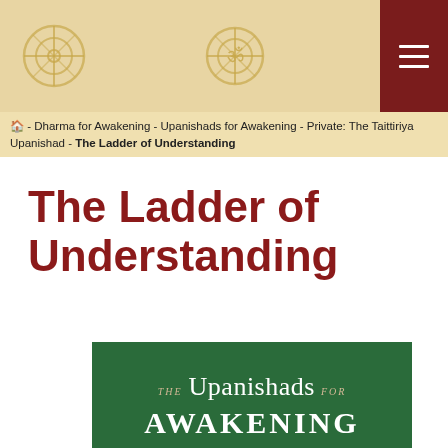Header with cross-wheel logo, Om symbol, and hamburger menu
🏠 - Dharma for Awakening - Upanishads for Awakening - Private: The Taittiriya Upanishad - The Ladder of Understanding
The Ladder of Understanding
[Figure (photo): Book cover of 'The Upanishads for Awakening: A Practical Commentary on India's Classical Scriptures' with dark green background and decorative image at bottom]